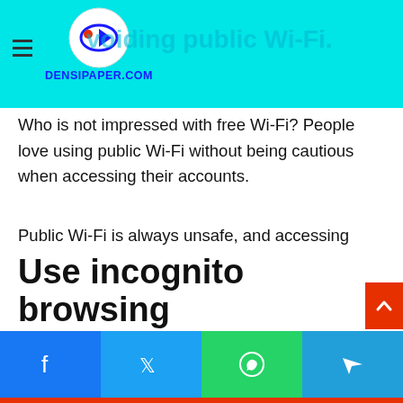Avoiding public Wi-Fi. DENSIPAPER.COM
Who is not impressed with free Wi-Fi? People love using public Wi-Fi without being cautious when accessing their accounts.
Public Wi-Fi is always unsafe, and accessing your accounts, for example, banks, means that someone else using the same network can seize the data you are producing online. The hackers will track your bank, email, and social media account passwords easily. Also, make sure to use only the best UK essay writing services if you want to deal only with reliable sites.
Use incognito browsing
Facebook  Twitter  WhatsApp  Telegram